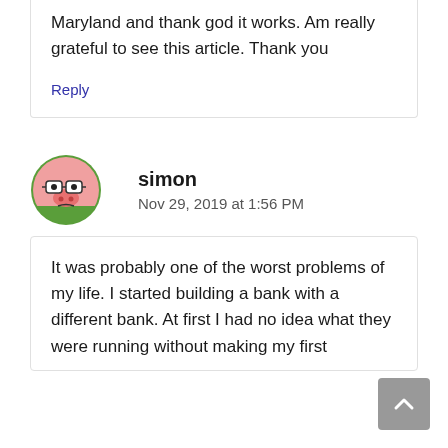Maryland and thank god it works. Am really grateful to see this article. Thank you
Reply
[Figure (illustration): Avatar image of user simon – cartoon pig emoji with glasses, circular crop with green border]
simon
Nov 29, 2019 at 1:56 PM
It was probably one of the worst problems of my life. I started building a bank with a different bank. At first I had no idea what they were running without making my first